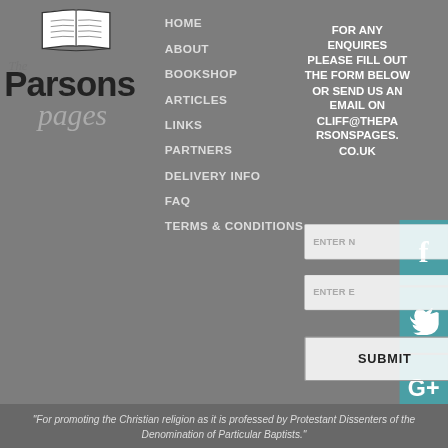[Figure (logo): The Parsons Pages logo with open book illustration, 'The' in italic, 'Parsons' in bold black, 'pages' in italic gray]
HOME
ABOUT
BOOKSHOP
ARTICLES
LINKS
PARTNERS
DELIVERY INFO
FAQ
TERMS & CONDITIONS
FOR ANY ENQUIRES PLEASE FILL OUT THE FORM BELOW OR SEND US AN EMAIL ON CLIFF@THEPARSONSPAGES.CO.UK
[Figure (screenshot): Facebook icon button (teal background, white f)]
[Figure (screenshot): Twitter icon button (teal background, white bird)]
[Figure (screenshot): Google+ icon button (teal background, white G+)]
ENTER N
ENTER E
SUBMIT
"For promoting the Christian religion as it is professed by Protestant Dissenters of the Denomination of Particular Baptists."